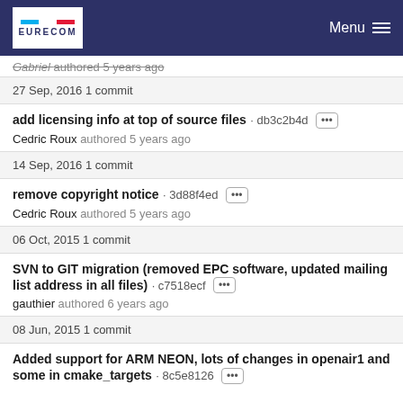EURECOM | Menu
Gabriel authored 5 years ago
27 Sep, 2016 1 commit
add licensing info at top of source files · db3c2b4d
Cedric Roux authored 5 years ago
14 Sep, 2016 1 commit
remove copyright notice · 3d88f4ed
Cedric Roux authored 5 years ago
06 Oct, 2015 1 commit
SVN to GIT migration (removed EPC software, updated mailing list address in all files) · c7518ecf
gauthier authored 6 years ago
08 Jun, 2015 1 commit
Added support for ARM NEON, lots of changes in openair1 and some in cmake_targets · 8c5e8126